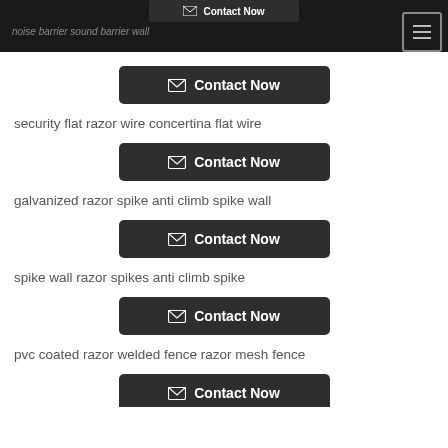noise barrier sound barrier wall
security flat razor wire concertina flat wire
galvanized razor spike anti climb spike wall
spike wall razor spikes anti climb spike
pvc coated razor welded fence razor mesh fence